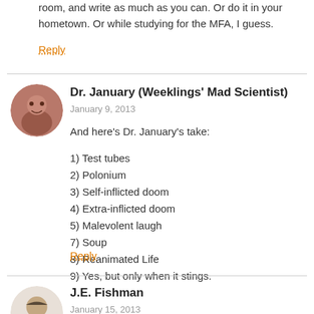room, and write as much as you can. Or do it in your hometown. Or while studying for the MFA, I guess.
Reply
Dr. January (Weeklings' Mad Scientist)
January 9, 2013
And here's Dr. January's take:
1) Test tubes
2) Polonium
3) Self-inflicted doom
4) Extra-inflicted doom
5) Malevolent laugh
7) Soup
8) Reanimated Life
9) Yes, but only when it stings.
Reply
J.E. Fishman
January 15, 2013
Funny stuff, boys. You made my lunch hour.
Re #7, Sean, you may appreciate Ty Cobb's response when asked if he'd take up a sport like golf after